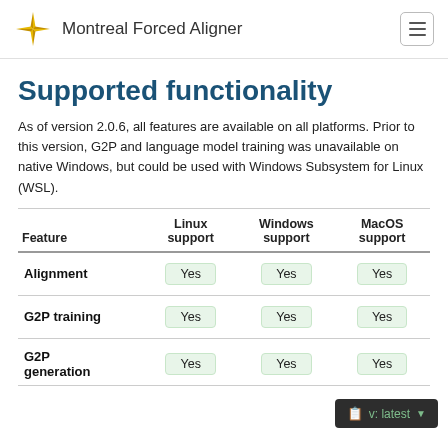Montreal Forced Aligner
Supported functionality
As of version 2.0.6, all features are available on all platforms. Prior to this version, G2P and language model training was unavailable on native Windows, but could be used with Windows Subsystem for Linux (WSL).
| Feature | Linux support | Windows support | MacOS support |
| --- | --- | --- | --- |
| Alignment | Yes | Yes | Yes |
| G2P training | Yes | Yes | Yes |
| G2P generation | Yes | Yes | Yes |